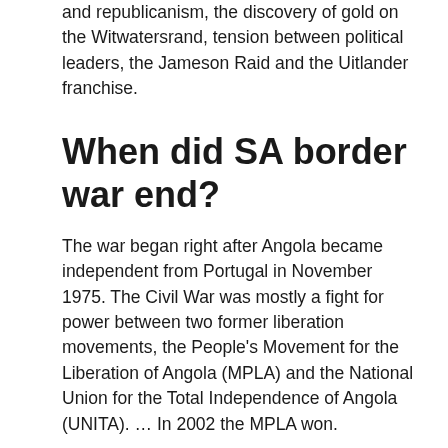and republicanism, the discovery of gold on the Witwatersrand, tension between political leaders, the Jameson Raid and the Uitlander franchise.
When did SA border war end?
The war began right after Angola became independent from Portugal in November 1975. The Civil War was mostly a fight for power between two former liberation movements, the People's Movement for the Liberation of Angola (MPLA) and the National Union for the Total Independence of Angola (UNITA). … In 2002 the MPLA won.